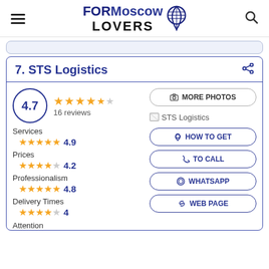FORMoscow LOVERS
7. STS Logistics
4.7 ★★★★½ 16 reviews
📷 MORE PHOTOS
[Figure (illustration): Broken image placeholder labeled STS Logistics]
Services ★★★★★ 4.9
Prices ★★★★☆ 4.2
Professionalism ★★★★★ 4.8
Delivery Times ★★★★☆ 4
Attention
HOW TO GET
TO CALL
WHATSAPP
WEB PAGE